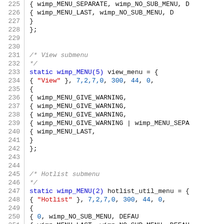Source code listing, lines 225-254, showing C code for wimp menu definitions including view_menu and hotlist_util_menu static arrays.